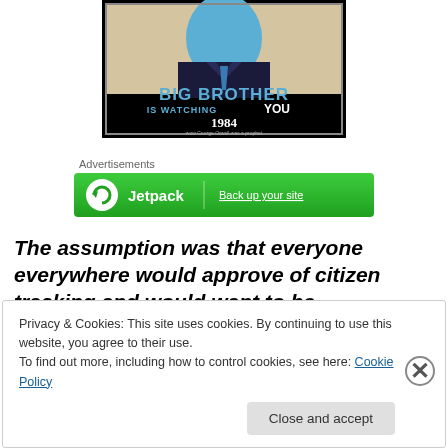[Figure (illustration): Big Brother 1984 poster showing a man in a suit with text 'BIG BROTHER IS WATCHING YOU' and '1984' with subtitle 'wow George Orwell was a prophet']
Advertisements
[Figure (other): Jetpack advertisement banner with green background and text 'Back up your site']
The assumption was that everyone everywhere would approve of citizen tracking and would want to be
Privacy & Cookies: This site uses cookies. By continuing to use this website, you agree to their use.
To find out more, including how to control cookies, see here: Cookie Policy
Close and accept